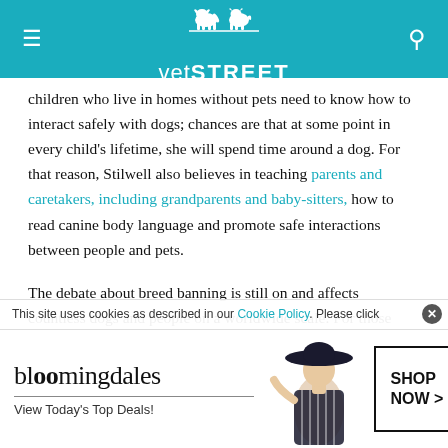vetSTREET
children who live in homes without pets need to know how to interact safely with dogs; chances are that at some point in every child's lifetime, she will spend time around a dog. For that reason, Stilwell also believes in teaching parents and caretakers, including grandparents and baby-sitters, how to read canine body language and promote safe interactions between people and pets.
The debate about breed banning is still on and affects countless dogs and people on a worldwide scale. For those who call dogs of banned breeds part of their families, the laws will continue to be a source of contention and protest. Only with time and continued vigilance...
This site uses cookies as described in our Cookie Policy. Please click...
[Figure (infographic): Bloomingdale's advertisement banner with logo, model in hat, and SHOP NOW button. Text reads: bloomingdales, View Today's Top Deals!]